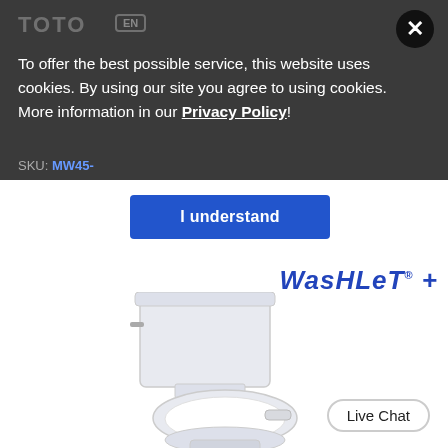[Figure (screenshot): TOTO website screenshot showing a cookie consent modal overlay on a product page. The dark overlay contains the TOTO logo, an EN language badge, a close X button, cookie notice text, an 'I understand' button, and a partially visible SKU line. Below the overlay is the WASHLET+ logo and a product photo of a white two-piece toilet with a bidet seat.]
To offer the best possible service, this website uses cookies. By using our site you agree to using cookies. More information in our Privacy Policy!
I understand
SKU: MW45-
Washlet+®
Live Chat